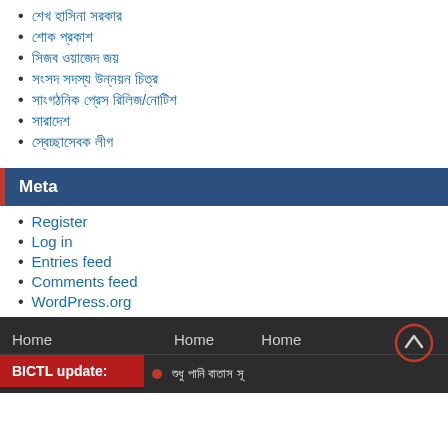শেখ হাসিনা সরকার
শোক প্রকাশ
সিজব ওয়ায়েজেদ জয়
সংসদ সদস্য উন্নয়ন চিত্র
সাংগঠনিক প্রেস রিলিজ/নোটিশ
সারাদেশ
স্বেচ্ছাসেবক লীগ
Meta
Register
Log in
Entries feed
Comments feed
WordPress.org
Home   Home   Home
BICTL update:
■ শুধু পানি বাতাস সূ